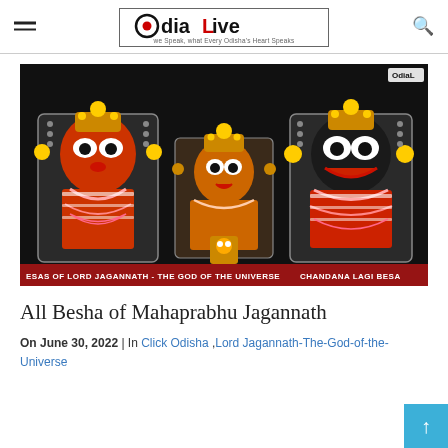OdiaLive — we Speak, what Every Odisha's Heart Speaks
[Figure (photo): Three Lord Jagannath deities in Chandana Lagi Besa (sandalwood attire) decorated with ornaments and garlands, displayed against a dark background. Bottom caption bar reads: 'ESAS OF LORD JAGANNATH - THE GOD OF THE UNIVERSE' on left and 'CHANDANA LAGI BESA' on right.]
All Besha of Mahaprabhu Jagannath
On June 30, 2022 | In Click Odisha , Lord Jagannath-The-God-of-the-Universe